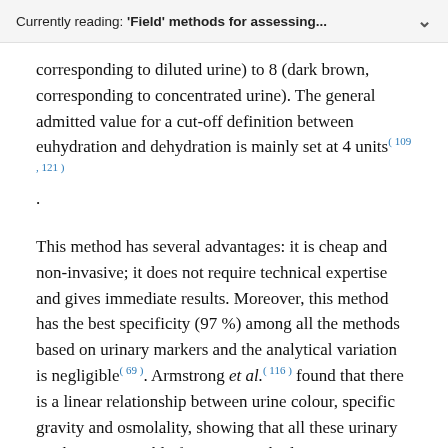Currently reading: 'Field' methods for assessing...
corresponding to diluted urine) to 8 (dark brown, corresponding to concentrated urine). The general admitted value for a cut-off definition between euhydration and dehydration is mainly set at 4 units(109, 121).
This method has several advantages: it is cheap and non-invasive; it does not require technical expertise and gives immediate results. Moreover, this method has the best specificity (97 %) among all the methods based on urinary markers and the analytical variation is negligible(69). Armstrong et al.(116) found that there is a linear relationship between urine colour, specific gravity and osmolality, showing that all these urinary markers are suitable for assessing hydration status. However, the main disadvantage of using urine colour